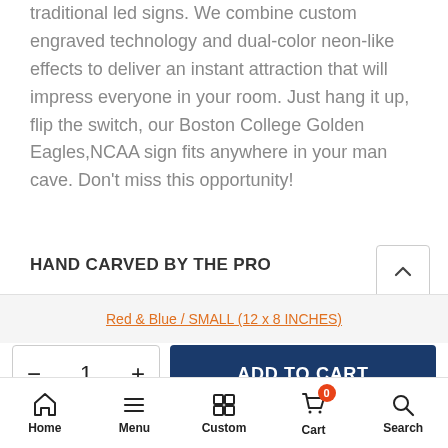traditional led signs. We combine custom engraved technology and dual-color neon-like effects to deliver an instant attraction that will impress everyone in your room. Just hang it up, flip the switch, our Boston College Golden Eagles,NCAA sign fits anywhere in your man cave. Don't miss this opportunity!
HAND CARVED BY THE PRO
Red & Blue / SMALL (12 x 8 INCHES)
- 1 +
ADD TO CART
Home  Menu  Custom  Cart  Search